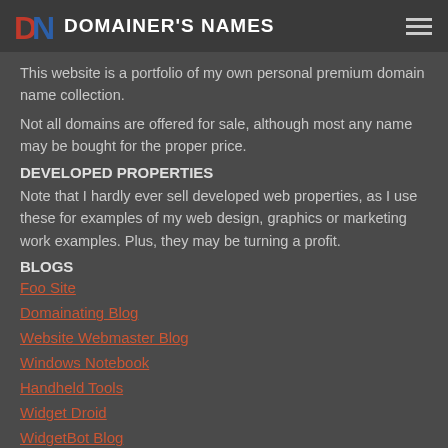DOMAINER'S NAMES
This website is a portfolio of my own personal premium domain name collection.
Not all domains are offered for sale, although most any name may be bought for the proper price.
DEVELOPED PROPERTIES
Note that I hardly ever sell developed web properties, as I use these for examples of my web design, graphics or marketing work examples. Plus, they may be turning a profit.
BLOGS
Foo Site
Domainating Blog
Website Webmaster Blog
Windows Notebook
Handheld Tools
Widget Droid
WidgetBot Blog
FontMaster